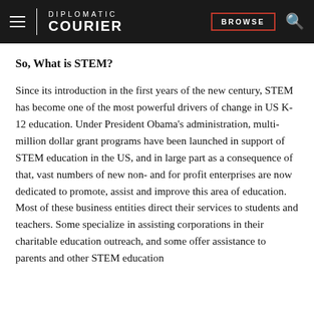DIPLOMATIC COURIER | BROWSE
So, What is STEM?
Since its introduction in the first years of the new century, STEM has become one of the most powerful drivers of change in US K-12 education. Under President Obama's administration, multi-million dollar grant programs have been launched in support of STEM education in the US, and in large part as a consequence of that, vast numbers of new non- and for profit enterprises are now dedicated to promote, assist and improve this area of education. Most of these business entities direct their services to students and teachers. Some specialize in assisting corporations in their charitable education outreach, and some offer assistance to parents and other STEM education stakeholders. In such cases, some states attain...